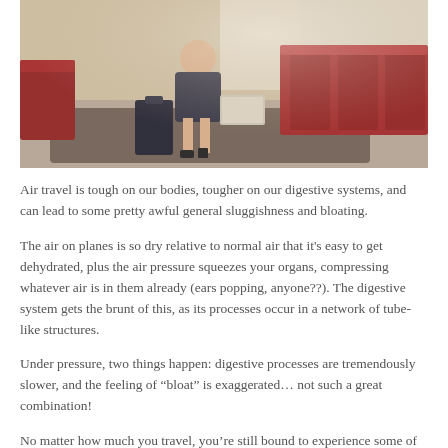[Figure (photo): A woman sitting in an airport lounge with red seats, luggage beside her, in a bright waiting area]
Air travel is tough on our bodies, tougher on our digestive systems, and can lead to some pretty awful general sluggishness and bloating.
The air on planes is so dry relative to normal air that it’s easy to get dehydrated, plus the air pressure squeezes your organs, compressing whatever air is in them already (ears popping, anyone??). The digestive system gets the brunt of this, as its processes occur in a network of tube-like structures.
Under pressure, two things happen: digestive processes are tremendously slower, and the feeling of “bloat” is exaggerated… not such a great combination!
No matter how much you travel, you’re still bound to experience some of the digestive discomfort, especially on longer flights, but